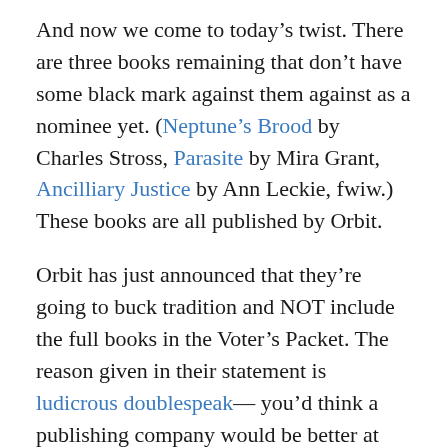And now we come to today's twist. There are three books remaining that don't have some black mark against them against as a nominee yet. (Neptune's Brood by Charles Stross, Parasite by Mira Grant, Ancilliary Justice by Ann Leckie, fwiw.) These books are all published by Orbit.
Orbit has just announced that they're going to buck tradition and NOT include the full books in the Voter's Packet. The reason given in their statement is ludicrous doublespeak— you'd think a publishing company would be better at lying– but fine, as long as they include significant excerpts, right?
OH NO! No, now all three of these books are also stricken with the Black Mark. People are already declaring that because Orbit is being so stupid and greedy they're going